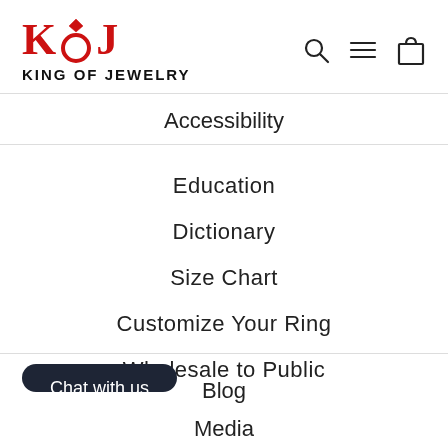[Figure (logo): King of Jewelry logo with red KOJ letters and diamond ring, text KING OF JEWELRY below]
Accessibility
Education
Dictionary
Size Chart
Customize Your Ring
Wholesale to Public
Chat with us
Blog
Media